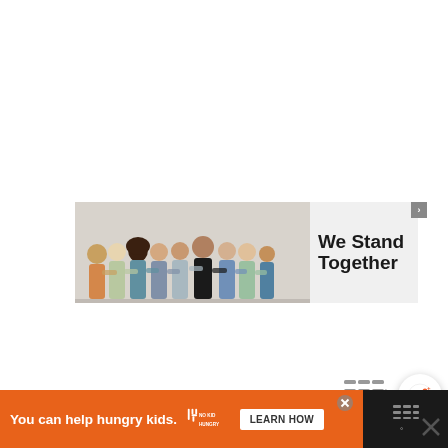[Figure (infographic): A horizontal banner advertisement showing a group of people with arms around each other viewed from behind, with the text 'We Stand Together' in bold black font on a light grey background on the right side. A small close/info button appears at the top right corner of the banner.]
[Figure (infographic): A grey wireframe/menu icon in the lower right of the white content area, accompanied by a circular white share button with a share icon.]
[Figure (infographic): Bottom orange advertisement bar reading 'You can help hungry kids.' with No Kid Hungry logo and 'LEARN HOW' button. A close X button appears above the bar. The right side of the bar area is a dark panel with wireframe bars icon.]